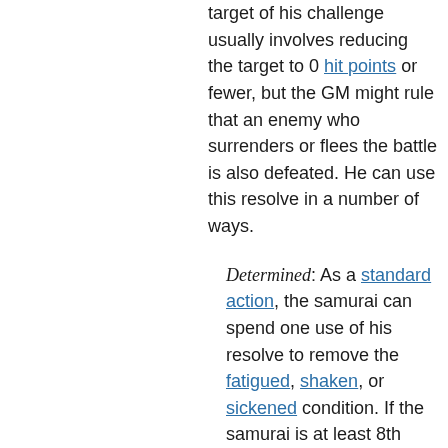target of his challenge usually involves reducing the target to 0 hit points or fewer, but the GM might rule that an enemy who surrenders or flees the battle is also defeated. He can use this resolve in a number of ways.
Determined: As a standard action, the samurai can spend one use of his resolve to remove the fatigued, shaken, or sickened condition. If the samurai is at least 8th level, he can alternatively remove the exhausted, frightened, nauseated, or staggered condition. If the condition has a duration longer